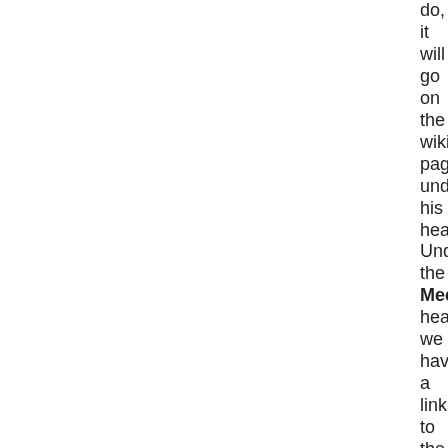do, it will go on the wiki page under his head Under the Mee head we have a link to the LoCo Port that has